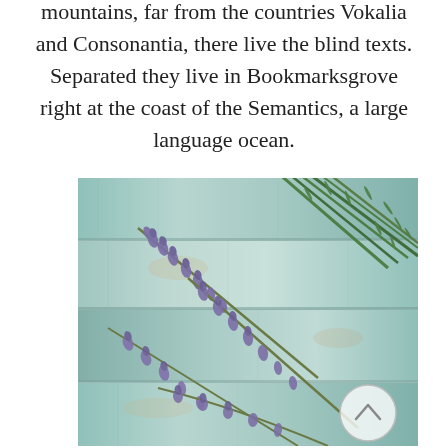mountains, far from the countries Vokalia and Consonantia, there live the blind texts. Separated they live in Bookmarksgrove right at the coast of the Semantics, a large language ocean.
[Figure (photo): Photo of lavender sprigs and rosemary laid on a light teal/blue rustic painted wooden surface. The lavender has purple flowers and the rosemary has green needle-like leaves. A semi-transparent circular scroll-up button with an upward arrow is overlaid in the lower-right corner of the image.]